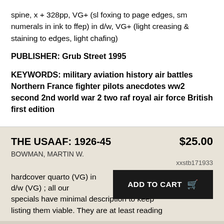spine, x + 328pp, VG+ (sl foxing to page edges, sm numerals in ink to ffep) in d/w, VG+ (light creasing & staining to edges, light chafing)
PUBLISHER: Grub Street 1995
KEYWORDS: military aviation history air battles Northern France fighter pilots anecdotes ww2 second 2nd world war 2 two raf royal air force British first edition
THE USAAF: 1926-45
$25.00
BOWMAN, MARTIN W.
xxstb171933
hardcover quarto (VG) in d/w (VG) ; all our specials have minimal description to keep listing them viable. They are at least reading